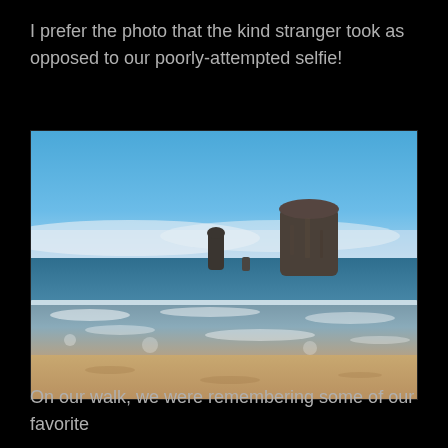I prefer the photo that the kind stranger took as opposed to our poorly-attempted selfie!
[Figure (photo): Beach scene with two large rock formations (sea stacks) rising from the ocean. Clear blue sky with some clouds on the horizon. Waves wash onto a sandy beach in the foreground.]
On our walk, we were remembering some of our favorite